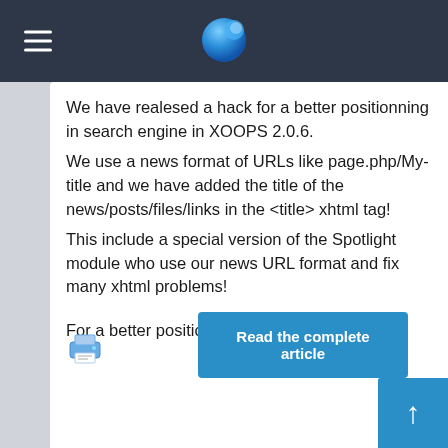Navigation bar with hamburger menu and globe icon
We have realesed a hack for a better positionning in search engine in XOOPS 2.0.6.
We use a news format of URLs like page.php/My-title and we have added the title of the news/posts/files/links in the <title> xhtml tag!
This include a special version of the Spotlight module who use our news URL format and fix many xhtml problems!

For a better positionning use our hack now!
[Figure (other): Printer icon]
Read the complete article